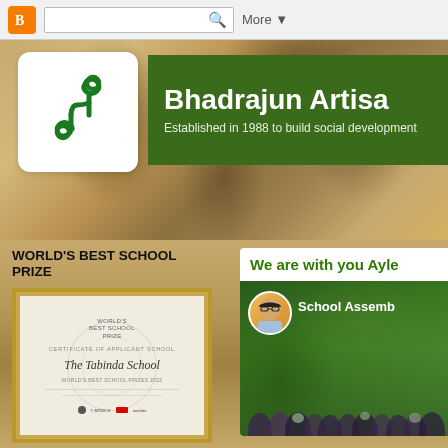Blogger navigation bar with search and More button
[Figure (logo): Bhadrajun Artisans logo - green stylized symbol on white card]
Bhadrajun Artisa
Established in 1988 to build social development
WORLD'S BEST SCHOOL PRIZE
[Figure (photo): Certificate of Applicant School for The Tabinda School, World's Best School Prizes 2022, framed in gold]
Successful Applicant
We are with you Ayle
[Figure (screenshot): School Assembly video thumbnail with avatar and crowd of students]